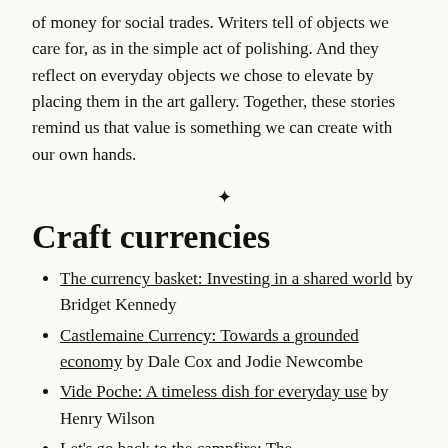of money for social trades. Writers tell of objects we care for, as in the simple act of polishing. And they reflect on everyday objects we chose to elevate by placing them in the art gallery. Together, these stories remind us that value is something we can create with our own hands.
❧
Craft currencies
The currency basket: Investing in a shared world by Bridget Kennedy
Castlemaine Currency: Towards a grounded economy by Dale Cox and Jodie Newcombe
Vide Poche: A timeless dish for everyday use by Henry Wilson
Let's go back to the campfire: The